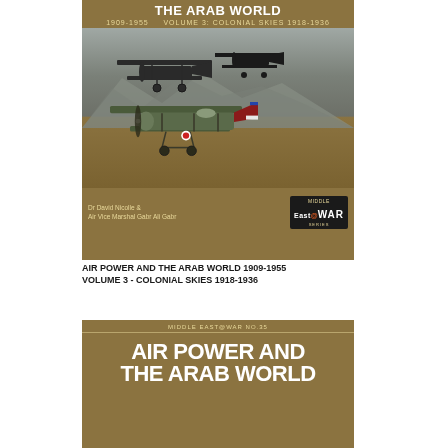[Figure (photo): Book cover for 'Air Power and the Arab World 1909-1955 Volume 3: Colonial Skies 1918-1936' from the Middle East@War series. Cover shows vintage biplane aircraft in flight over a desert landscape, with authors Dr David Nicolle & Air Vice Marshal Gabr Ali Gabr. Gold/brown color scheme.]
AIR POWER AND THE ARAB WORLD 1909-1955
VOLUME 3 - COLONIAL SKIES 1918-1936
[Figure (photo): Partial book cover for another book in the Middle East@War series (No. 35) showing 'AIR POWER AND THE ARAB WORLD' title in large white bold text on golden-brown background.]